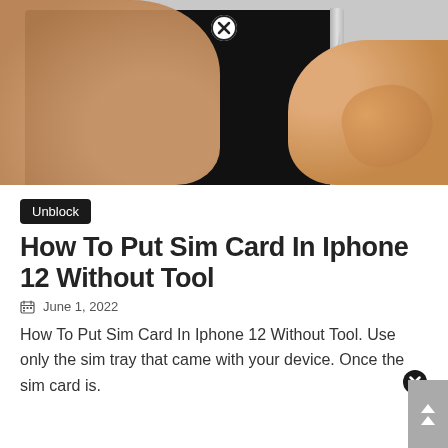[Figure (photo): Close-up photo of two hands inserting a SIM card tool into the side of an iPhone 12. The phone has a black screen and silver metal frame. A thin metal tool (or pin) is being pressed into the SIM tray ejector hole on the right side of the device. Background is light grey surface.]
Unblock
How To Put Sim Card In Iphone 12 Without Tool
June 1, 2022
How To Put Sim Card In Iphone 12 Without Tool. Use only the sim tray that came with your device. Once the sim card is.